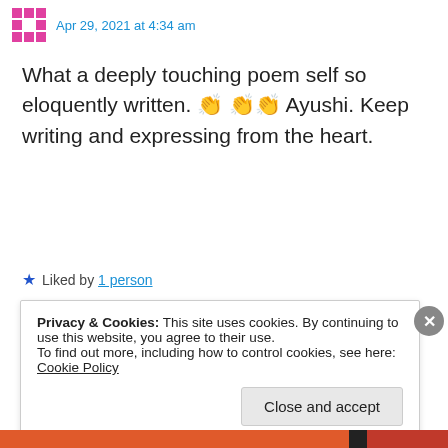Apr 29, 2021 at 4:34 am
What a deeply touching poem self so eloquently written. 👏👏👏 Ayushi. Keep writing and expressing from the heart.
★ Liked by 1 person
Reply
Privacy & Cookies: This site uses cookies. By continuing to use this website, you agree to their use.
To find out more, including how to control cookies, see here: Cookie Policy
Close and accept